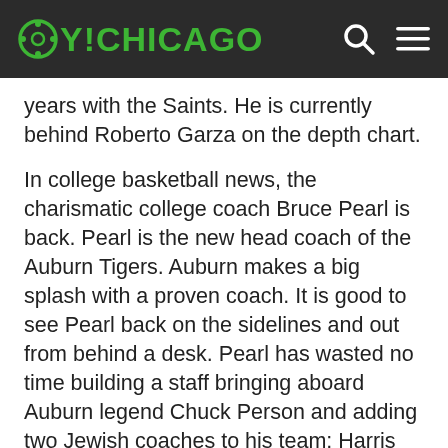OY!CHICAGO
years with the Saints. He is currently behind Roberto Garza on the depth chart.
In college basketball news, the charismatic college coach Bruce Pearl is back. Pearl is the new head coach of the Auburn Tigers. Auburn makes a big splash with a proven coach. It is good to see Pearl back on the sidelines and out from behind a desk. Pearl has wasted no time building a staff bringing aboard Auburn legend Chuck Person and adding two Jewish coaches to his team: Harris Adler, formerly of La Salle, and Columbia's Todd Golden.
Posted by Lindsey_2 at 6/2/2014 2:25 PM